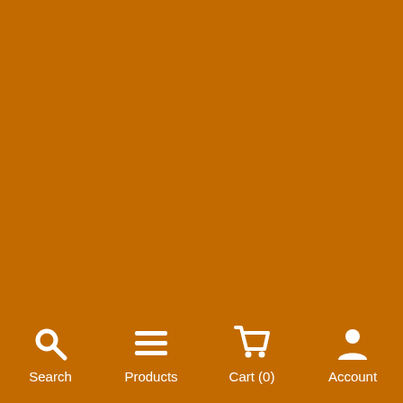[Figure (screenshot): Orange/amber background mobile app screen with bottom navigation bar containing four items: Search (magnifying glass icon), Products (hamburger/list icon), Cart(0) (shopping cart icon), Account (person/user icon). All icons and labels are white on the orange background.]
Search  Products  Cart (0)  Account